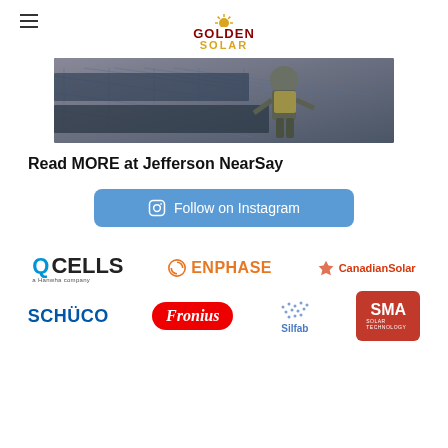[Figure (logo): Golden Solar company logo with sun rays graphic above the text GOLDEN SOLAR]
[Figure (photo): Workers installing solar panels on a rooftop]
Read MORE at Jefferson NearSay
[Figure (screenshot): Follow on Instagram button in blue]
[Figure (logo): Partner brand logos: Q CELLS (a Hanwha company), ENPHASE, CanadianSolar, SCHUCO, Fronius, Silfab, SMA]
[Figure (logo): Second row of partner brand logos: SCHUCO, Fronius, Silfab, SMA]